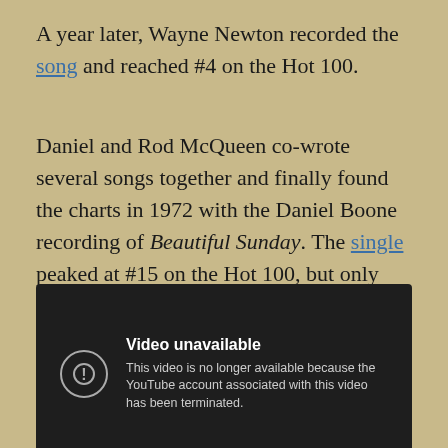A year later, Wayne Newton recorded the song and reached #4 on the Hot 100.
Daniel and Rod McQueen co-wrote several songs together and finally found the charts in 1972 with the Daniel Boone recording of Beautiful Sunday. The single peaked at #15 on the Hot 100, but only reached #21 in the UK.
[Figure (screenshot): Embedded YouTube video player showing 'Video unavailable' message: 'This video is no longer available because the YouTube account associated with this video has been terminated.']